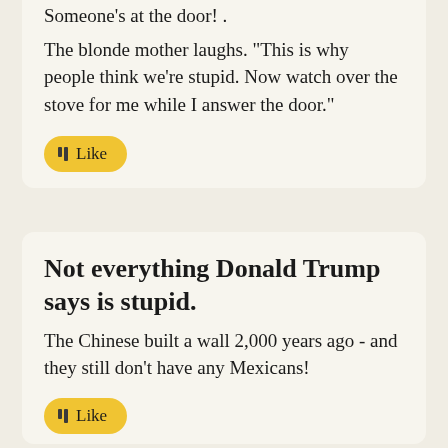Someone's at the door! .
The blonde mother laughs. "This is why people think we're stupid. Now watch over the stove for me while I answer the door."
Like
Not everything Donald Trump says is stupid.
The Chinese built a wall 2,000 years ago - and they still don't have any Mexicans!
Like